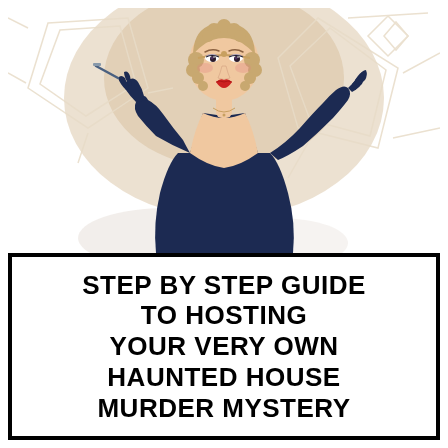[Figure (illustration): Art Deco style illustration of a 1920s flapper woman in a dark navy dress and long dark gloves, holding a cigarette holder, against a geometric Art Deco background in warm tan/gold tones with white geometric line patterns.]
STEP BY STEP GUIDE TO HOSTING YOUR VERY OWN HAUNTED HOUSE MURDER MYSTERY